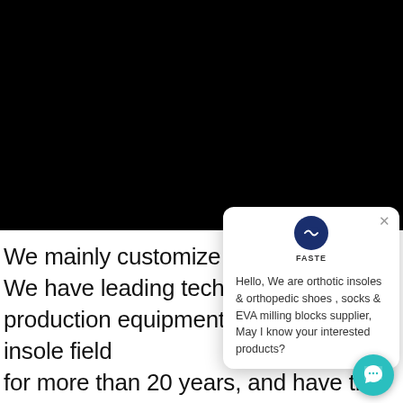[Figure (screenshot): Black background covering the upper portion of the page, representing a website screenshot with dark overlay]
We mainly customize We have leading tech production equipment, focus on the insole field for more than 20 years, and have the American Medical Council Certification Committee "C...d.
[Figure (screenshot): Chat popup widget showing FASTE logo, close button (X), and message: Hello, We are orthotic insoles & orthopedic shoes , socks & EVA milling blocks supplier, May I know your interested products? With a teal chat button in the bottom right.]